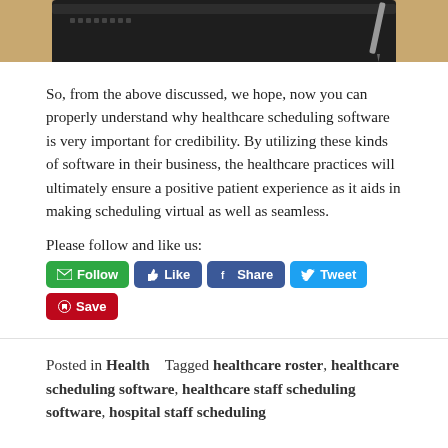[Figure (photo): Photo of a smartphone and pen on a wooden desk, partially visible at the top of the page]
So, from the above discussed, we hope, now you can properly understand why healthcare scheduling software is very important for credibility. By utilizing these kinds of software in their business, the healthcare practices will ultimately ensure a positive patient experience as it aids in making scheduling virtual as well as seamless.
Please follow and like us:
Posted in Health   Tagged healthcare roster, healthcare scheduling software, healthcare staff scheduling software, hospital staff scheduling